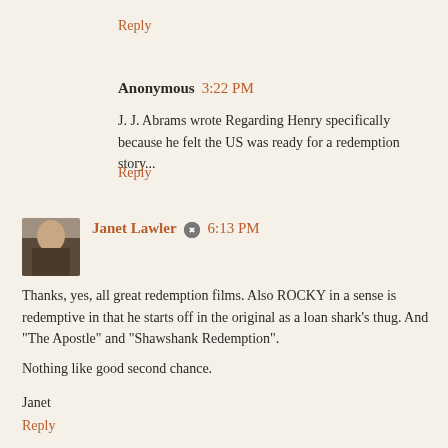Reply
Anonymous  3:22 PM
J. J. Abrams wrote Regarding Henry specifically because he felt the US was ready for a redemption story...
Reply
Janet Lawler  6:13 PM
Thanks, yes, all great redemption films. Also ROCKY in a sense is redemptive in that he starts off in the original as a loan shark's thug. And "The Apostle" and "Shawshank Redemption".

Nothing like good second chance.

Janet
Reply